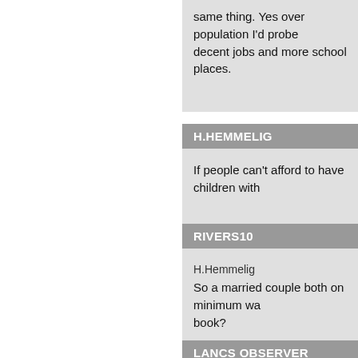same thing. Yes over population I'd probe decent jobs and more school places.
H.HEMMELIG
If people can't afford to have children with
RIVERS10
H.Hemmelig
So a married couple both on minimum wa book?
LANCS OBSERVER
Rivers10 seems to think it'd not reduce the in the jargon plus a lot are single mothers)

Matt W seems to think it'd result in a one c